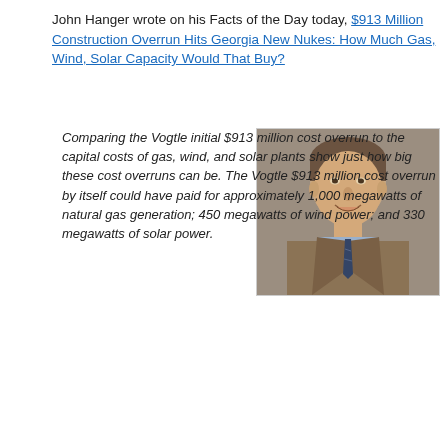John Hanger wrote on his Facts of the Day today, $913 Million Construction Overrun Hits Georgia New Nukes: How Much Gas, Wind, Solar Capacity Would That Buy?
[Figure (photo): Professional headshot of a middle-aged man in a suit and tie, smiling, with a neutral background]
Comparing the Vogtle initial $913 million cost overrun to the capital costs of gas, wind, and solar plants show just how big these cost overruns can be. The Vogtle $913 million cost overrun by itself could have paid for approximately 1,000 megawatts of natural gas generation; 450 megawatts of wind power; and 330 megawatts of solar power.